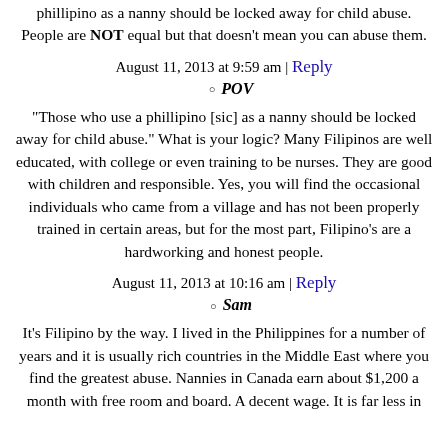phillipino as a nanny should be locked away for child abuse. People are NOT equal but that doesn't mean you can abuse them.
August 11, 2013 at 9:59 am | Reply
POV
"Those who use a phillipino [sic] as a nanny should be locked away for child abuse." What is your logic? Many Filipinos are well educated, with college or even training to be nurses. They are good with children and responsible. Yes, you will find the occasional individuals who came from a village and has not been properly trained in certain areas, but for the most part, Filipino's are a hardworking and honest people.
August 11, 2013 at 10:16 am | Reply
Sam
It's Filipino by the way. I lived in the Philippines for a number of years and it is usually rich countries in the Middle East where you find the greatest abuse. Nannies in Canada earn about $1,200 a month with free room and board. A decent wage. It is far less in